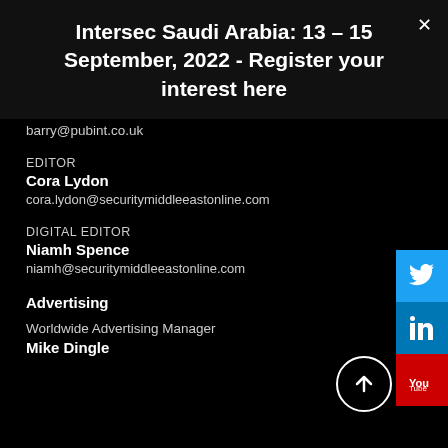Intersec Saudi Arabia: 13 – 15 September, 2022 - Register your interest here
barry@pubint.co.uk
EDITOR
Cora Lydon
cora.lydon@securitymiddleeastonline.com
DIGITAL EDITOR
Niamh Spence
niamh@securitymiddleeastonline.com
Advertising
Worldwide Advertising Manager
Mike Dingle
[Figure (infographic): Social media icons: Twitter (blue), LinkedIn (blue), YouTube (red), and a scroll-up arrow button]